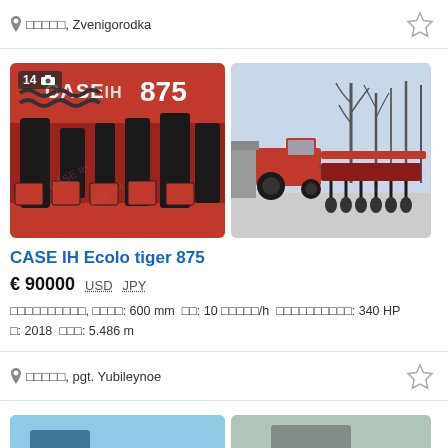□□□□□, Zvenigorodka
[Figure (photo): Two photos of agricultural equipment: left shows close-up of CASE IH 875 planter attachments in red and black; right shows CASE IH tractor pulling a large planter implement in an outdoor yard.]
CASE IH Ecolo tiger 875
€ 90000  USD  JPY
□□□□□□□□□□, □□□□: 600 mm  □□: 10 □□□□□/h  □□□□□□□□□□: 340 HP  □: 2018  □□□: 5.486 m
□□□□□, pgt. Yubileynoe
[Figure (photo): Partially visible images at the bottom of the page, cropped.]